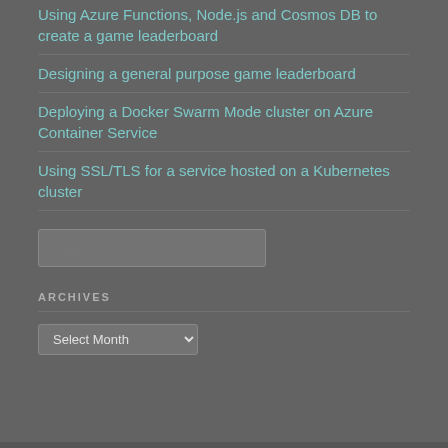Using Azure Functions, Node.js and Cosmos DB to create a game leaderboard
Designing a general purpose game leaderboard
Deploying a Docker Swarm Mode cluster on Azure Container Service
Using SSL/TLS for a service hosted on a Kubernetes cluster
Search …
ARCHIVES
Select Month